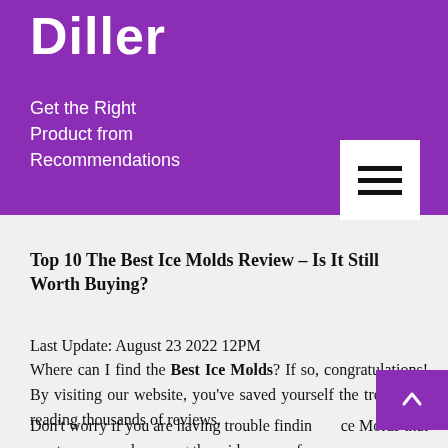Diller
Get the Right Product from Recommendations
Top 10 The Best Ice Molds Review – Is It Still Worth Buying?
Last Update: August 23 2022 12PM
Where can I find the Best Ice Molds? If so, congratulations! By visiting our website, you've saved yourself the trouble of reading thousands of reviews.
Don't worry if you are having trouble finding Ice Molds that meets your needs among the wide array of